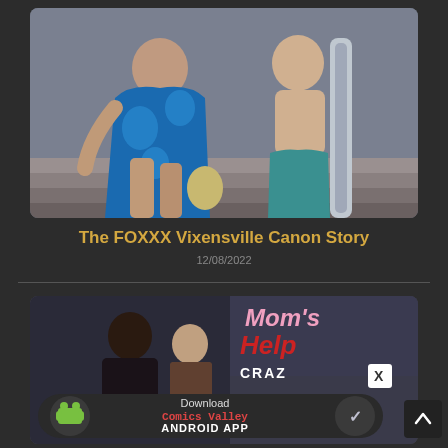[Figure (photo): Two people standing on stairs — one in a blue floral wrap/sarong, one in teal swim shorts holding a surfboard]
The FOXXX Vixensville Canon Story
12/08/2022
[Figure (photo): Advertisement banner showing animated characters and 'Mom's Help' title with 'CRAZY' label and a download bar for 'Comics Valley Android App']